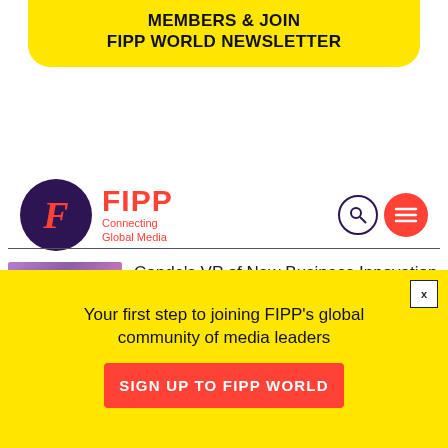MEMBERS & JOIN
FIPP WORLD NEWSLETTER
[Figure (logo): FIPP logo with dark purple circle containing red italic F, red text FIPP with tagline Connecting Global Media, search icon, and red menu icon]
[Figure (photo): Teal/cyan background with magnifying glass icon]
Conde's VP of New Business Innovation on the challenges – and opportunities – of Web3
[Figure (photo): Purple/pink abstract background with CONDÉ NAST text label]
Your first step to joining FIPP's global community of media leaders
SIGN UP TO FIPP WORLD